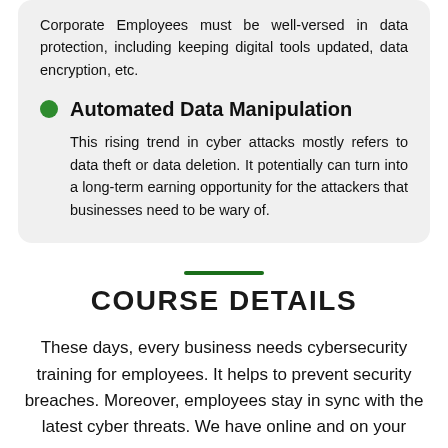Corporate Employees must be well-versed in data protection, including keeping digital tools updated, data encryption, etc.
Automated Data Manipulation
This rising trend in cyber attacks mostly refers to data theft or data deletion. It potentially can turn into a long-term earning opportunity for the attackers that businesses need to be wary of.
COURSE DETAILS
These days, every business needs cybersecurity training for employees. It helps to prevent security breaches. Moreover, employees stay in sync with the latest cyber threats. We have online and on your